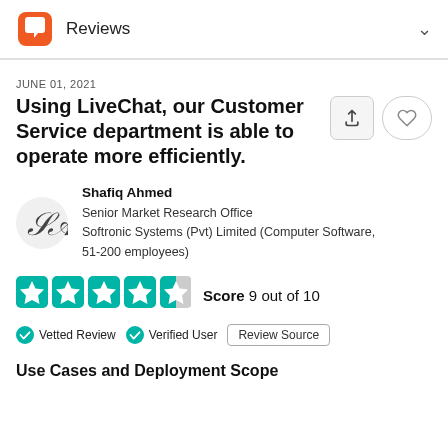Reviews
JUNE 01, 2021
Using LiveChat, our Customer Service department is able to operate more efficiently.
Shafiq Ahmed
Senior Market Research Office
Softronic Systems (Pvt) Limited (Computer Software, 51-200 employees)
Score 9 out of 10
Vetted Review   Verified User   Review Source
Use Cases and Deployment Scope